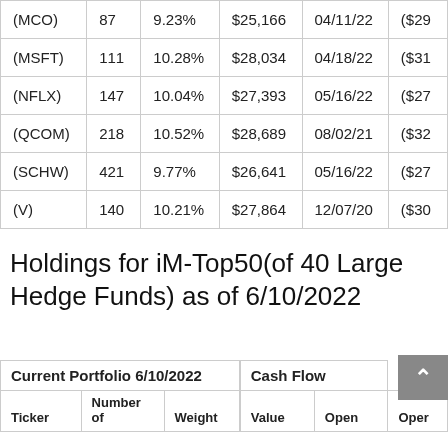| Ticker | Number of Shares | Weight | Value | Open Date | Open Price |
| --- | --- | --- | --- | --- | --- |
| (MCO) | 87 | 9.23% | $25,166 | 04/11/22 | ($29… |
| (MSFT) | 111 | 10.28% | $28,034 | 04/18/22 | ($31… |
| (NFLX) | 147 | 10.04% | $27,393 | 05/16/22 | ($27… |
| (QCOM) | 218 | 10.52% | $28,689 | 08/02/21 | ($32… |
| (SCHW) | 421 | 9.77% | $26,641 | 05/16/22 | ($27… |
| (V) | 140 | 10.21% | $27,864 | 12/07/20 | ($30… |
Holdings for iM-Top50(of 40 Large Hedge Funds) as of 6/10/2022
| Current Portfolio 6/10/2022 |  |  | Cash Flow |  | Ticker | Number of | Weight | Value | Open | Open |
| --- | --- | --- | --- | --- | --- | --- | --- | --- | --- | --- |